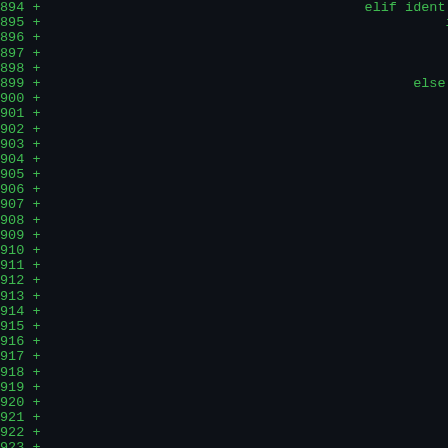[Figure (screenshot): Dark-themed code diff view showing line numbers 894-923, each with a green '+' marker, and partial Python code visible on the right side including 'elif ident not in d', 'if time.tim', 'if n', 'else:', 'Dic', 'args', 'args', 'cmd', 'if T']